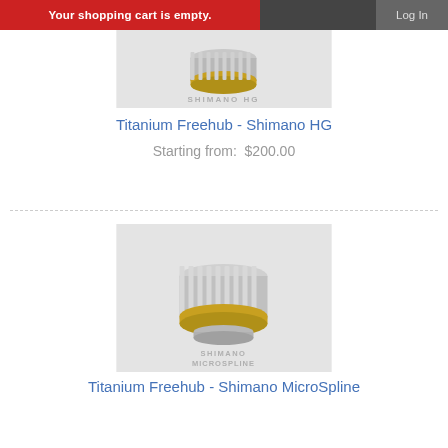Your shopping cart is empty.  Log In
[Figure (photo): Titanium freehub body for Shimano HG, silver metallic cylindrical part with gold ring, on grey background with 'SHIMANO HG' watermark]
Titanium Freehub - Shimano HG
Starting from:  $200.00
[Figure (photo): Titanium freehub body for Shimano MicroSpline, wide silver metallic cylindrical part with gold ring at base, on grey background with 'SHIMANO MICROSPLINE' watermark]
Titanium Freehub - Shimano MicroSpline